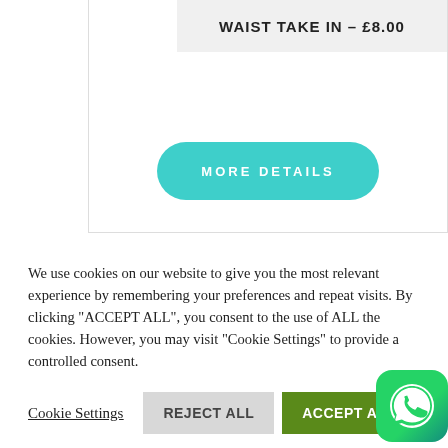WAIST TAKE IN – £8.00
[Figure (other): Teal rounded button labeled MORE DETAILS]
We use cookies on our website to give you the most relevant experience by remembering your preferences and repeat visits. By clicking "ACCEPT ALL", you consent to the use of ALL the cookies. However, you may visit "Cookie Settings" to provide a controlled consent.
Cookie Settings
REJECT ALL
ACCEPT ALL
[Figure (other): WhatsApp icon button in bottom right corner]